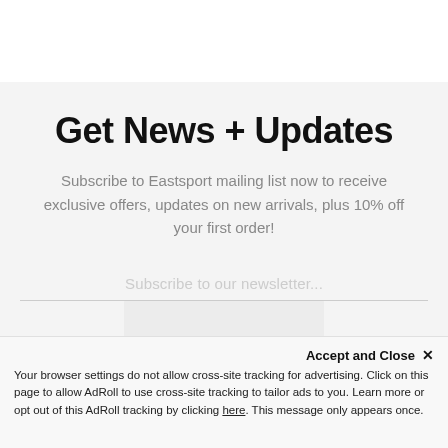Get News + Updates
Subscribe to Eastsport mailing list now to receive exclusive offers, updates on new arrivals, plus 10% off your first order!
Subscribe to our newsletter...
Accept and Close ×
Your browser settings do not allow cross-site tracking for advertising. Click on this page to allow AdRoll to use cross-site tracking to tailor ads to you. Learn more or opt out of this AdRoll tracking by clicking here. This message only appears once.